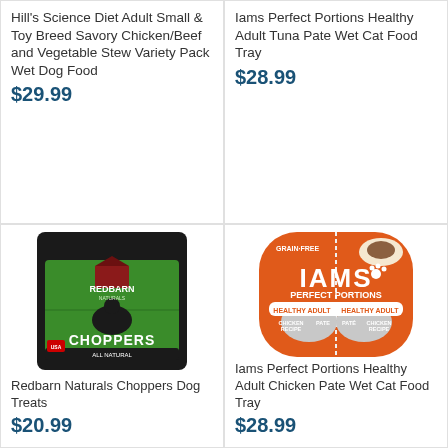Hill's Science Diet Adult Small & Toy Breed Savory Chicken/Beef and Vegetable Stew Variety Pack Wet Dog Food
$29.99
Iams Perfect Portions Healthy Adult Tuna Pate Wet Cat Food Tray
$28.99
[Figure (photo): Redbarn Naturals Choppers dog treats green and black bag]
Redbarn Naturals Choppers Dog Treats
$20.99
[Figure (photo): Iams Perfect Portions Healthy Adult Chicken Pate Wet Cat Food Tray orange packaging]
Iams Perfect Portions Healthy Adult Chicken Pate Wet Cat Food Tray
$28.99